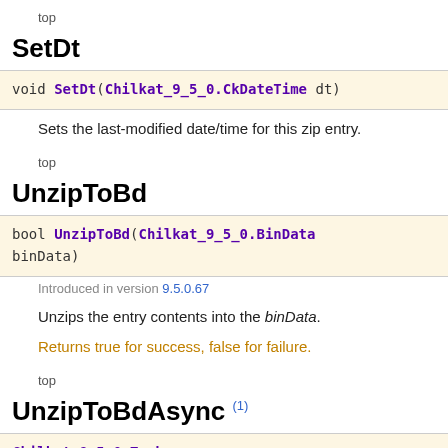top
SetDt
void SetDt(Chilkat_9_5_0.CkDateTime dt)
Sets the last-modified date/time for this zip entry.
top
UnzipToBd
bool UnzipToBd(Chilkat_9_5_0.BinData binData)
Introduced in version 9.5.0.67
Unzips the entry contents into the binData.
Returns true for success, false for failure.
top
UnzipToBdAsync (1)
Chilkat_9_5_0.Task